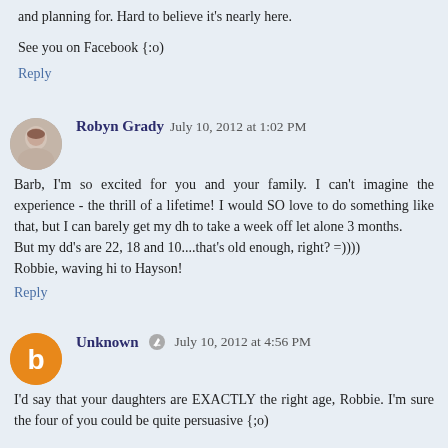and planning for. Hard to believe it's nearly here.
See you on Facebook {:o)
Reply
Robyn Grady  July 10, 2012 at 1:02 PM
Barb, I'm so excited for you and your family. I can't imagine the experience - the thrill of a lifetime! I would SO love to do something like that, but I can barely get my dh to take a week off let alone 3 months.
But my dd's are 22, 18 and 10....that's old enough, right? =))))
Robbie, waving hi to Hayson!
Reply
Unknown  July 10, 2012 at 4:56 PM
I'd say that your daughters are EXACTLY the right age, Robbie. I'm sure the four of you could be quite persuasive {;o)
Perhaps I'll start a secret email photo campaign to your hubby —